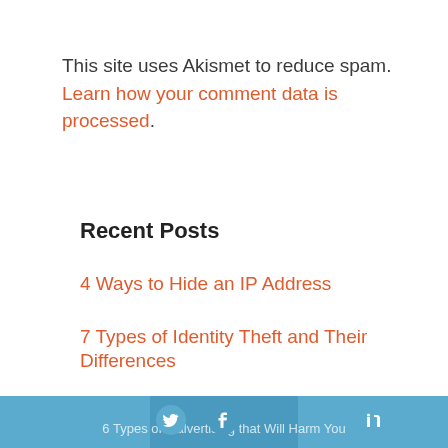This site uses Akismet to reduce spam. Learn how your comment data is processed.
Recent Posts
4 Ways to Hide an IP Address
7 Types of Identity Theft and Their Differences
6 Ways to Fix Modem Hijacking
SFTP vs. FTPS: Their Differences
6 Types of Malvertising that Will Harm You
6 Types of Malvertising that Will Harm You